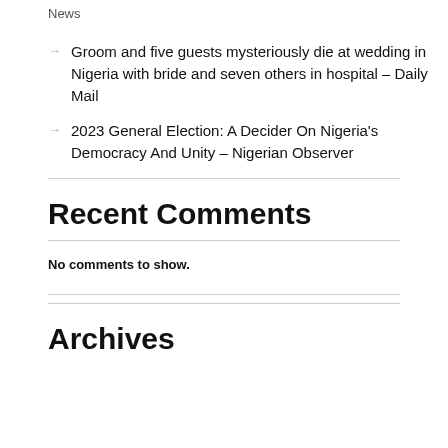News
Groom and five guests mysteriously die at wedding in Nigeria with bride and seven others in hospital – Daily Mail
2023 General Election: A Decider On Nigeria's Democracy And Unity – Nigerian Observer
Recent Comments
No comments to show.
Archives